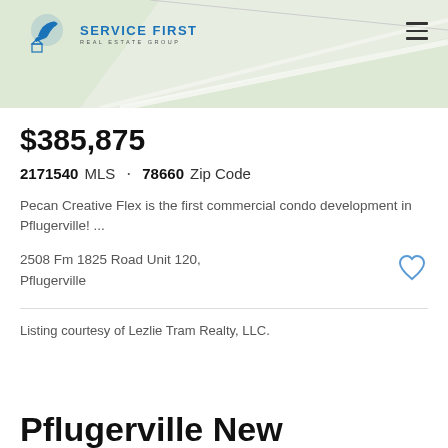[Figure (map): Background map image showing road/area in light green tones with Service First Real Estate Group logo in top-left and hamburger menu in top-right]
$385,875
2171540 MLS · 78660 Zip Code
Pecan Creative Flex is the first commercial condo development in Pflugerville! ...
2508 Fm 1825 Road Unit 120, Pflugerville
Listing courtesy of Lezlie Tram Realty, LLC.
Pflugerville New